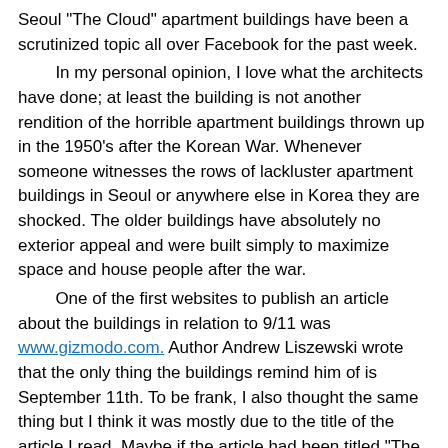Seoul "The Cloud" apartment buildings have been a scrutinized topic all over Facebook for the past week. In my personal opinion, I love what the architects have done; at least the building is not another rendition of the horrible apartment buildings thrown up in the 1950's after the Korean War. Whenever someone witnesses the rows of lackluster apartment buildings in Seoul or anywhere else in Korea they are shocked. The older buildings have absolutely no exterior appeal and were built simply to maximize space and house people after the war. One of the first websites to publish an article about the buildings in relation to 9/11 was www.gizmodo.com. Author Andrew Liszewski wrote that the only thing the buildings remind him of is September 11th. To be frank, I also thought the same thing but I think it was mostly due to the title of the article I read. Maybe if the article had been titled "The Cloud is set to be completed in 2015" I would have had a completely different viewpoint of the buildings. Answer a simple survey below as to whether or not you think the building looks like its floating in the clouds or looks like a rendition of 9/11.